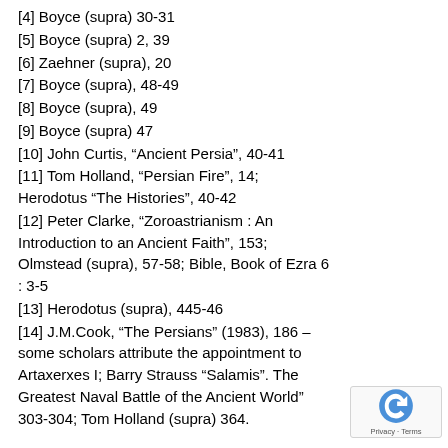[4] Boyce (supra) 30-31
[5] Boyce (supra) 2, 39
[6] Zaehner (supra), 20
[7] Boyce (supra), 48-49
[8] Boyce (supra), 49
[9] Boyce (supra) 47
[10] John Curtis, “Ancient Persia”, 40-41
[11] Tom Holland, “Persian Fire”, 14; Herodotus “The Histories”, 40-42
[12] Peter Clarke, “Zoroastrianism : An Introduction to an Ancient Faith”, 153; Olmstead (supra), 57-58; Bible, Book of Ezra 6 : 3-5
[13] Herodotus (supra), 445-46
[14] J.M.Cook, “The Persians” (1983), 186 – some scholars attribute the appointment to Artaxerxes I; Barry Strauss “Salamis”. The Greatest Naval Battle of the Ancient World” 303-304; Tom Holland (supra) 364.